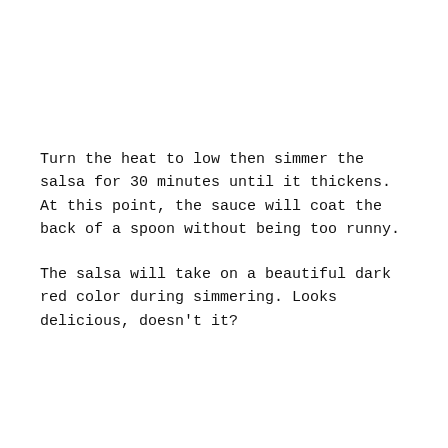Turn the heat to low then simmer the salsa for 30 minutes until it thickens. At this point, the sauce will coat the back of a spoon without being too runny.
The salsa will take on a beautiful dark red color during simmering. Looks delicious, doesn't it?